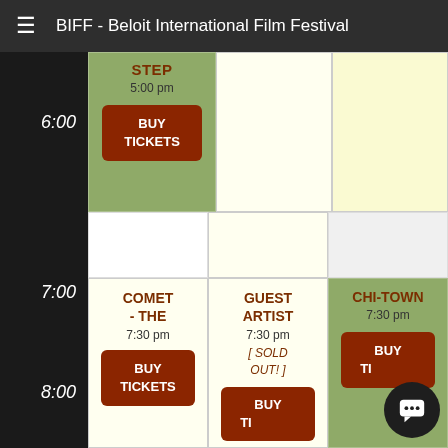BIFF - Beloit International Film Festival
| Time | Col1 | Col2 | Col3 |
| --- | --- | --- | --- |
| 6:00 | STEP
5:00 pm
BUY TICKETS | (yellow empty) | (light yellow empty) |
| 7:00 | (empty) | (empty) | (empty) |
| 8:00 | COMET - THE
7:30 pm
BUY TICKETS | GUEST ARTIST
7:30 pm
[SOLD OUT!]
BUY TICKETS | CHI-TOWN
7:30 pm
BUY TI... |